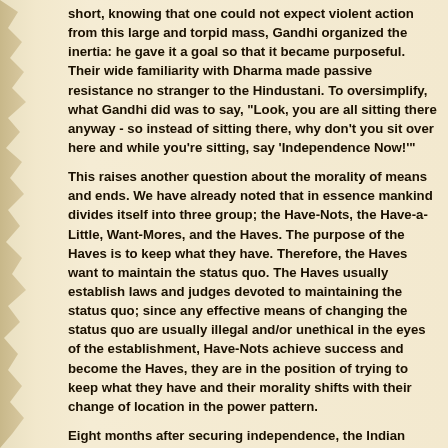short, knowing that one could not expect violent action from this large and torpid mass, Gandhi organized the inertia: he gave it a goal so that it became purposeful. Their wide familiarity with Dharma made passive resistance no stranger to the Hindustani. To oversimplify, what Gandhi did was to say, "Look, you are all sitting there anyway - so instead of sitting there, why don't you sit over here and while you're sitting, say 'Independence Now!'"
This raises another question about the morality of means and ends. We have already noted that in essence mankind divides itself into three group; the Have-Nots, the Have-a-Little, Want-Mores, and the Haves. The purpose of the Haves is to keep what they have. Therefore, the Haves want to maintain the status quo. The Haves usually establish laws and judges devoted to maintaining the status quo; since any effective means of changing the status quo are usually illegal and/or unethical in the eyes of the establishment, Have-Nots achieve success and become the Haves, they are in the position of trying to keep what they have and their morality shifts with their change of location in the power pattern.
Eight months after securing independence, the Indian National Congress outlawed passive resistance and made it a crime. It was one thing for them to use the means of passive resistance against the previous Haves, but now in power they were going to insure that this